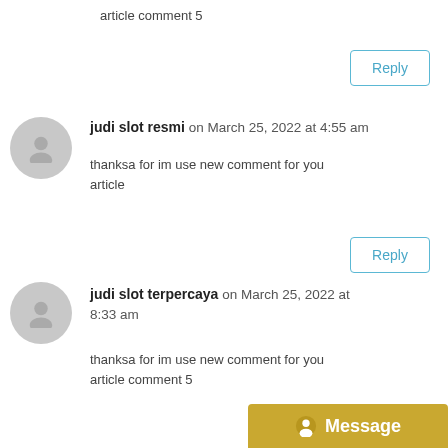article comment 5
Reply
judi slot resmi on March 25, 2022 at 4:55 am
thanksa for im use new comment for you article
Reply
judi slot terpercaya on March 25, 2022 at 8:33 am
thanksa for im use new comment for you article comment 5
Message